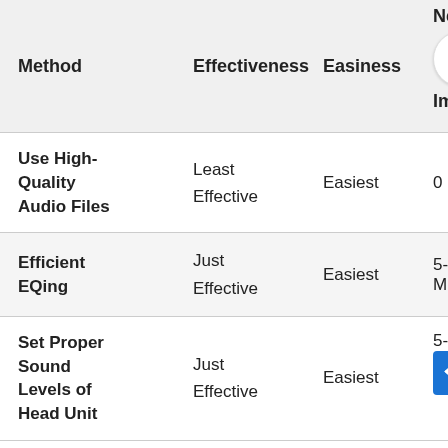| Method | Effectiveness | Easiness | Need to Impl... |
| --- | --- | --- | --- |
| Use High-Quality Audio Files | Least Effective | Easiest | 0 Mi... |
| Efficient EQing | Just Effective | Easiest | 5-10 Min... |
| Set Proper Sound Levels of Head Unit | Just Effective | Easiest | 5-10 Min... |